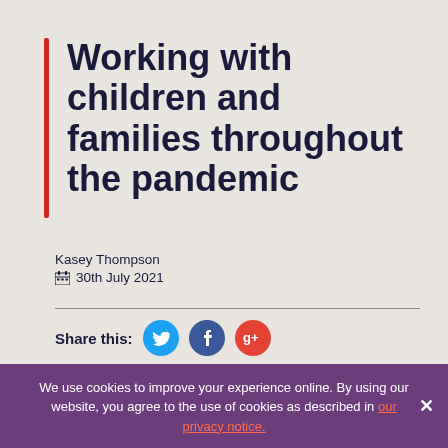Working with children and families throughout the pandemic
Kasey Thompson
📅 30th July 2021
Share this:
Kasey Thompson is a Frontline programme participant
We use cookies to improve your experience online. By using our website, you agree to the use of cookies as described in our privacy notice.